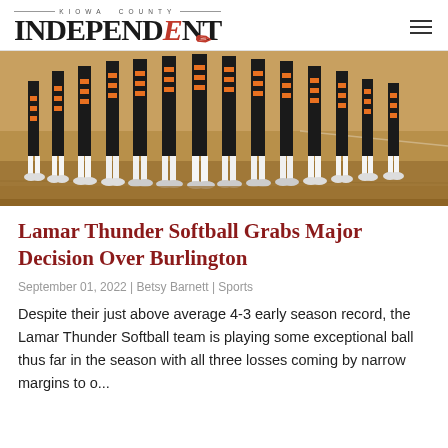Kiowa County Independent
[Figure (photo): Lower half of softball players standing in a line on a dirt field, wearing black and orange striped socks and white cleats]
Lamar Thunder Softball Grabs Major Decision Over Burlington
September 01, 2022 | Betsy Barnett | Sports
Despite their just above average 4-3 early season record, the Lamar Thunder Softball team is playing some exceptional ball thus far in the season with all three losses coming by narrow margins to o...